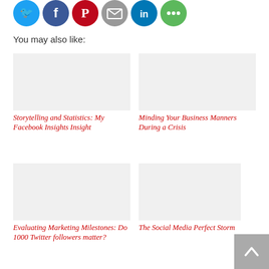[Figure (illustration): Row of social media share buttons: Twitter (blue), Facebook (blue), Pinterest (red), Email (grey), LinkedIn (blue), ShareMore/Other (green)]
You may also like:
[Figure (illustration): Placeholder image for Storytelling and Statistics article]
Storytelling and Statistics: My Facebook Insights Insight
[Figure (illustration): Placeholder image for Minding Your Business Manners article]
Minding Your Business Manners During a Crisis
[Figure (illustration): Placeholder image for Evaluating Marketing Milestones article]
Evaluating Marketing Milestones: Do 1000 Twitter followers matter?
[Figure (illustration): Placeholder image for The Social Media Perfect Storm article]
The Social Media Perfect Storm